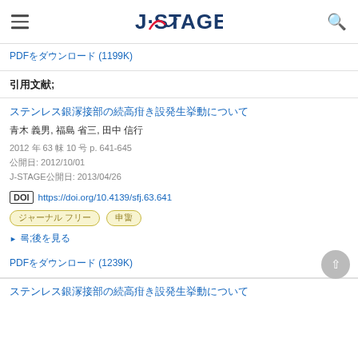J-STAGE
PDFをダウンロード (1199K)
引用文献
ステンレス鋼溶接部の腐食疲労き裂発生挙動について
青木 義男, 福島 省三, 田中 信行
2012 年 63 巻 10 号 p. 641-645
公開日: 2012/10/01
J-STAGE公開日: 2013/04/26
DOI https://doi.org/10.4139/sfj.63.641
ジャーナル フリー
抄録を見る
PDFをダウンロード (1239K)
ステンレス鋼溶接部の腐食疲労き裂発生挙動について